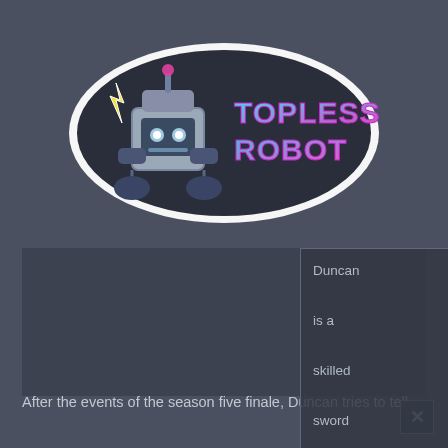[Figure (logo): Topless Robot logo — cartoon robot character with lightning bolt and gamepad controller, with stylized neon pink/cyan text reading 'TOPLESS ROBOT' on a dark background with white outline sticker style border]
Duncan is a skilled sword fighter and a talented hair stylist.
After the events of the season five finale, Duncan tries to tell